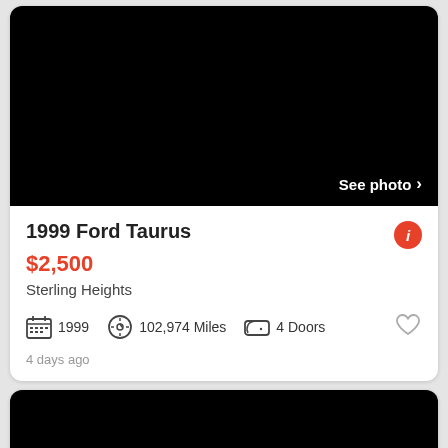[Figure (photo): Black vehicle photo area with 'See photo >' text overlay on the right side]
1999 Ford Taurus
$2,500
Sterling Heights
1999  102,974 Miles  4 Doors
4 days ago
[Figure (photo): Partial view of a second vehicle listing card, black background]